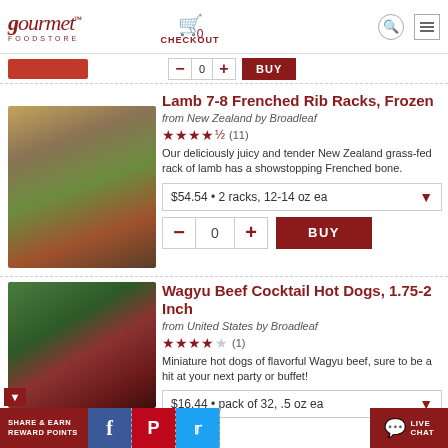Gourmet Foodstore — CHECKOUT 0
[Figure (screenshot): Partial product row from item above with quantity controls and BUY button]
Lamb 7-8 Frenched Rib Racks, Frozen
from New Zealand by Broadleaf
★★★★★ (11) — 4.5 stars
Our deliciously juicy and tender New Zealand grass-fed rack of lamb has a showstopping Frenched bone.
$54.54 • 2 racks, 12-14 oz ea
[Figure (photo): Photo of Lamb 7-8 Frenched Rib Racks, herb-crusted, plated with garnish]
Wagyu Beef Cocktail Hot Dogs, 1.75-2 Inch
from United States by Broadleaf
★★★★☆ (1) — 4 stars
Miniature hot dogs of flavorful Wagyu beef, sure to be a hit at your next party or buffet!
$16.44 • pack of 32, .5 oz ea
[Figure (photo): Photo of Wagyu Beef Cocktail Hot Dogs on skewers with lettuce garnish]
SHARE & EARN REWARD POINTS | Facebook | Pinterest | Twitter | LIVE CHAT